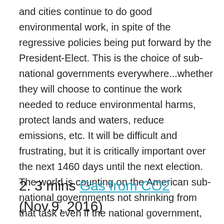and cities continue to do good environmental work, in spite of the regressive policies being put forward by the President-Elect. This is the choice of sub-national governments everywhere...whether they will choose to continue the work needed to reduce environmental harms, protect lands and waters, reduce emissions, etc. It will be difficult and frustrating, but it is critically important over the next 1460 days until the next election. The world is counting on the American sub-national governments not shrinking from that task even if the national government, for example, pulls out of the Paris Accord.
2. 3 mins Gas from CO2 (Nov.9, 2016)